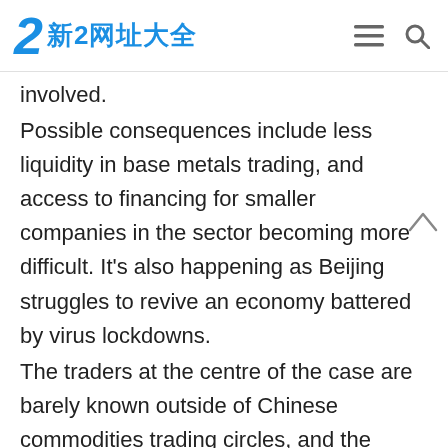2 新2网址大全
involved.
Possible consequences include less liquidity in base metals trading, and access to financing for smaller companies in the sector becoming more difficult. It's also happening as Beijing struggles to revive an economy battered by virus lockdowns.
The traders at the centre of the case are barely known outside of Chinese commodities trading circles, and the inventories in question weren't registered with the Shanghai Futures Exchange, China's biggest metals bourse, the sources said.
The allegations started in a single facility in Foshan city and impacted several warehouses in Shanghai and Zhejiang province. The aluminium inventories in those facilities